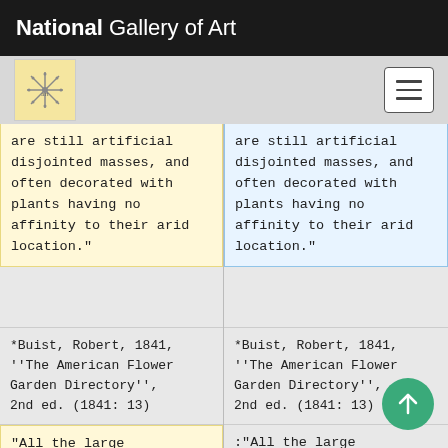National Gallery of Art
are still artificial disjointed masses, and often decorated with plants having no affinity to their arid location."
are still artificial disjointed masses, and often decorated with plants having no affinity to their arid location."
*Buist, Robert, 1841, ''The American Flower Garden Directory'', 2nd ed. (1841: 13)
*Buist, Robert, 1841, ''The American Flower Garden Directory'', 2nd ed. (1841: 13)
“All the large divisions [of a flower garden] should be
:“All the large divisions [of a f garden] should be